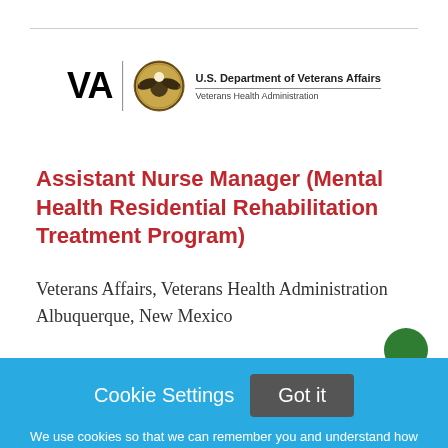[Figure (logo): VA logo with seal and U.S. Department of Veterans Affairs / Veterans Health Administration text]
Assistant Nurse Manager (Mental Health Residential Rehabilitation Treatment Program)
Veterans Affairs, Veterans Health Administration
Albuquerque, New Mexico
Cookie Settings  Got it
We use cookies so that we can remember you and understand how you use our site. If you do not agree with our use of cookies, please change the current settings found in our Cookie Policy. Otherwise, you agree to the use of the cookies as they are currently set.